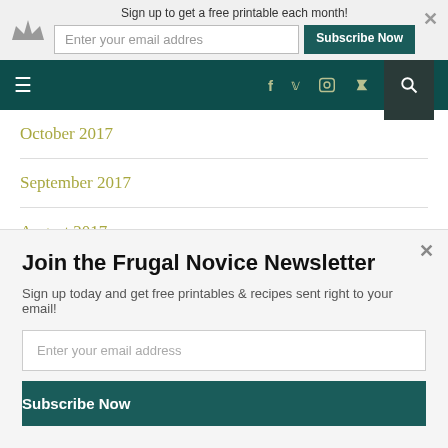[Figure (screenshot): Top signup bar with crown icon, email input, Subscribe Now button, and close X]
[Figure (screenshot): Dark teal navigation bar with hamburger menu, social icons (f, bird, camera, RSS), and search icon]
October 2017
September 2017
August 2017
July 2017
June 2017
[Figure (screenshot): Newsletter signup modal: Join the Frugal Novice Newsletter, email input, Subscribe Now button]